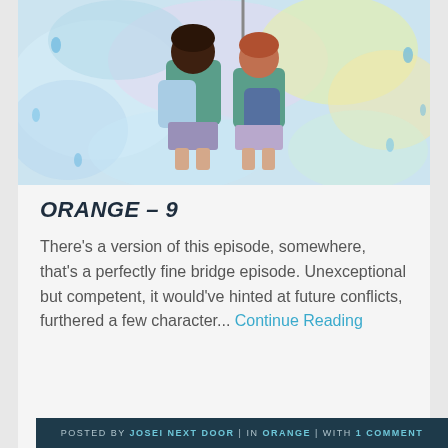[Figure (illustration): Anime-style illustration of two students seen from behind, sharing an umbrella in the rain. Colorful watercolor background with pastel blues, greens, pinks, and yellows; raindrop shapes scattered around.]
ORANGE – 9
There's a version of this episode, somewhere, that's a perfectly fine bridge episode. Unexceptional but competent, it would've hinted at future conflicts, furthered a few character... Continue Reading
POSTED BY JOSEI NEXT DOOR | IN ORANGE | WITH 1 COMMENT